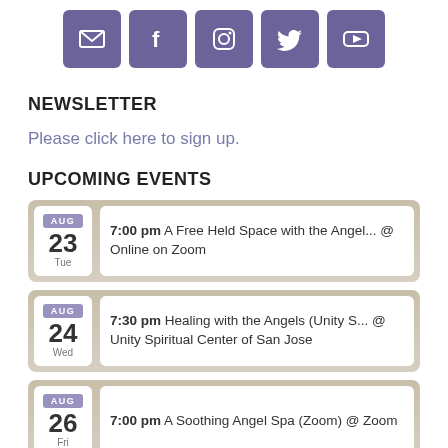[Figure (other): Row of five social media icon buttons (email, Facebook, Instagram, Twitter, YouTube) in purple/indigo rounded-square buttons]
NEWSLETTER
Please click here to sign up.
UPCOMING EVENTS
AUG 23 Tue — 7:00 pm A Free Held Space with the Angel... @ Online on Zoom
AUG 24 Wed — 7:30 pm Healing with the Angels (Unity S... @ Unity Spiritual Center of San Jose
AUG 26 Fri — 7:00 pm A Soothing Angel Spa (Zoom) @ Zoom